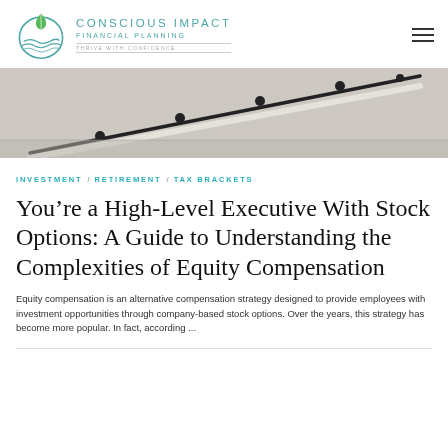[Figure (logo): Conscious Impact Financial Planning logo with circular leaf/water icon and teal text]
[Figure (photo): Grayscale photo of staircase railing going upward, representing growth or advancement]
INVESTMENT / RETIREMENT / TAX BRACKETS
You're a High-Level Executive With Stock Options: A Guide to Understanding the Complexities of Equity Compensation
Equity compensation is an alternative compensation strategy designed to provide employees with investment opportunities through company-based stock options. Over the years, this strategy has become more popular. In fact, according ...